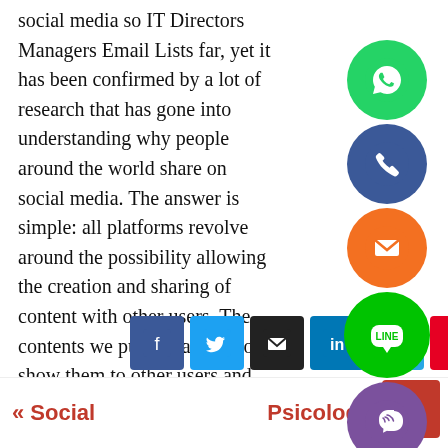social media so IT Directors Managers Email Lists far, yet it has been confirmed by a lot of research that has gone into understanding why people around the world share on social media. The answer is simple: all platforms revolve around the possibility allowing the creation and sharing of content with other users. The contents we publish ability to show them to other users and the effect they have on our lives are the basis that underpins the entire structure of the platform, so we just have to ask ourselves: why do we feel the need to share on social netw...
[Figure (illustration): Floating social media share icons: WhatsApp (green circle), Phone/Viber (blue circle), Email (orange circle with envelope), LINE (green circle), Viber (purple circle), and a close/X button (green circle)]
[Figure (infographic): Social share bar with buttons: Facebook (blue), Twitter (light blue), Email (black), LinkedIn (blue), Telegram (blue), Pinterest (red)]
« Social    Psicologia Della